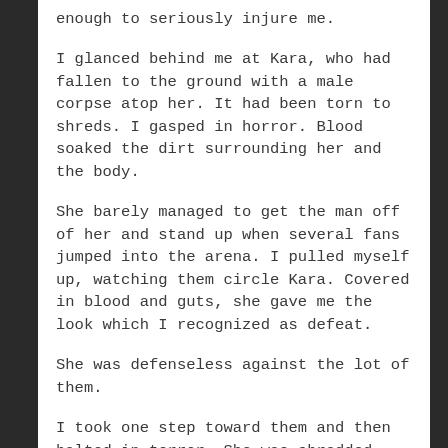enough to seriously injure me.
I glanced behind me at Kara, who had fallen to the ground with a male corpse atop her. It had been torn to shreds. I gasped in horror. Blood soaked the dirt surrounding her and the body.
She barely managed to get the man off of her and stand up when several fans jumped into the arena. I pulled myself up, watching them circle Kara. Covered in blood and guts, she gave me the look which I recognized as defeat.
She was defenseless against the lot of them.
I took one step toward them and then halted in terror. She was shredded within seconds. They